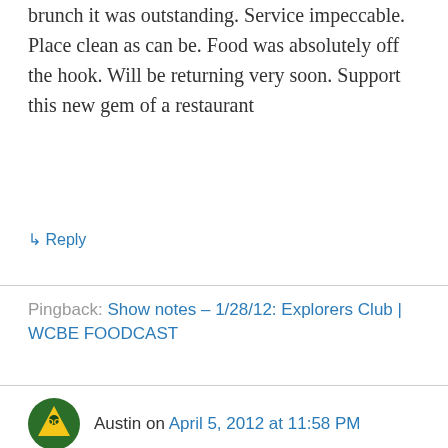brunch it was outstanding. Service impeccable. Place clean as can be. Food was absolutely off the hook. Will be returning very soon. Support this new gem of a restaurant
↳ Reply
Pingback: Show notes – 1/28/12: Explorers Club | WCBE FOODCAST
Austin on April 5, 2012 at 11:58 PM
I used to work at galaxy on high. I did my chef apprentIceship with Ricky then moved to California to cook and learn about wine I had to move cause the economy sucks now I have a reason to come home Ricky's food rules and